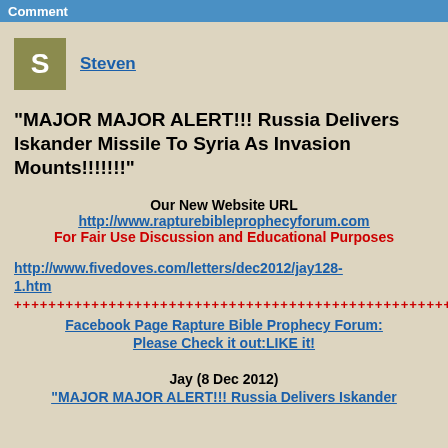Comment
Steven
"MAJOR MAJOR ALERT!!! Russia Delivers Iskander Missile To Syria As Invasion Mounts!!!!!!!"
Our New Website URL
http://www.rapturebibleprophecyforum.com
For Fair Use Discussion and Educational Purposes
http://www.fivedoves.com/letters/dec2012/jay128-1.htm
++++++++++++++++++++++++++++++++++++++++++++++++++++
Facebook Page Rapture Bible Prophecy Forum: Please Check it out:LIKE it!
Jay (8 Dec 2012)
"MAJOR MAJOR ALERT!!! Russia Delivers Iskander